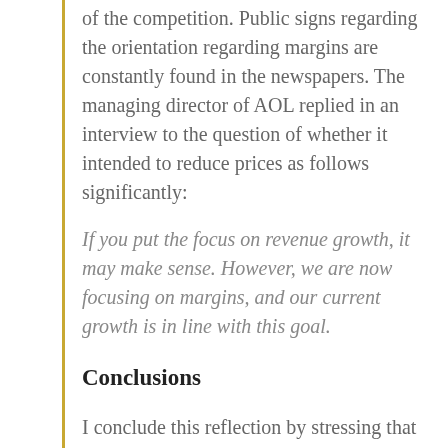of the competition. Public signs regarding the orientation regarding margins are constantly found in the newspapers. The managing director of AOL replied in an interview to the question of whether it intended to reduce prices as follows significantly:
If you put the focus on revenue growth, it may make sense. However, we are now focusing on margins, and our current growth is in line with this goal.
Conclusions
I conclude this reflection by stressing that when disruptive innovations in mature markets are lacking, the competitive